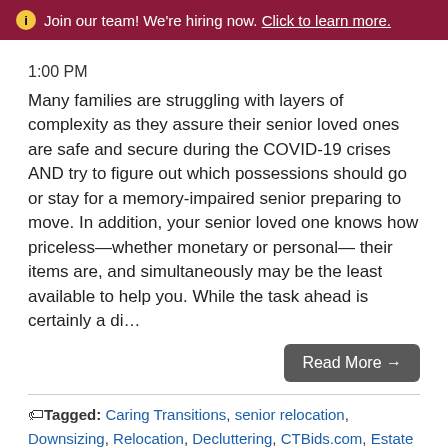ⓘ Join our team! We're hiring now. Click to learn more.
1:00 PM
Many families are struggling with layers of complexity as they assure their senior loved ones are safe and secure during the COVID-19 crises AND try to figure out which possessions should go or stay for a memory-impaired senior preparing to move. In addition, your senior loved one knows how priceless—whether monetary or personal— their items are, and simultaneously may be the least available to help you. While the task ahead is certainly a di...
Read More →
Tagged: Caring Transitions, senior relocation, Downsizing, Relocation, Decluttering, CTBids.com, Estate Sales, sorting, COVID-19, Online Auctions, Senior